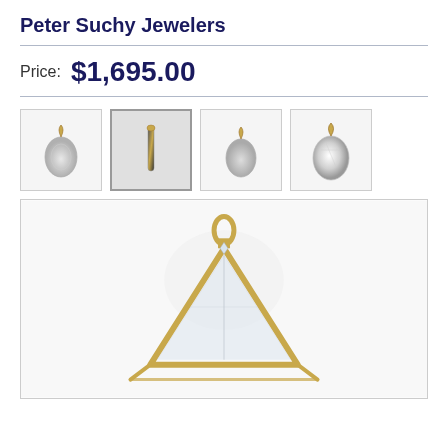Peter Suchy Jewelers
Price: $1,695.00
[Figure (photo): Four thumbnail images of a teardrop-shaped jewelry pendant (likely a crystal or moonstone pendant in a gold setting), shown from different angles: front, side profile, front again, and close-up.]
[Figure (photo): Large main product photo showing a close-up, slightly blurred view of a gold jewelry pendant with a triangular/teardrop crystal stone set in gold prongs, photographed against a white background.]